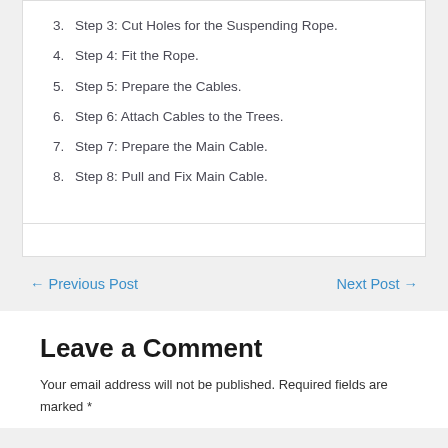3. Step 3: Cut Holes for the Suspending Rope.
4. Step 4: Fit the Rope.
5. Step 5: Prepare the Cables.
6. Step 6: Attach Cables to the Trees.
7. Step 7: Prepare the Main Cable.
8. Step 8: Pull and Fix Main Cable.
← Previous Post    Next Post →
Leave a Comment
Your email address will not be published. Required fields are marked *